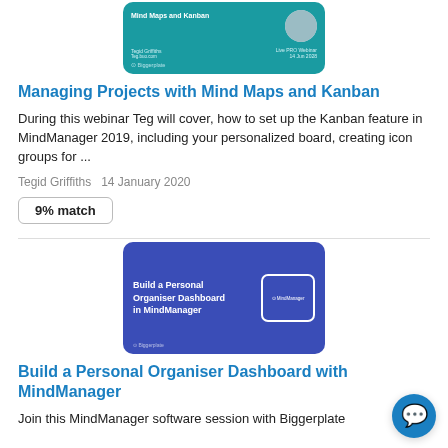[Figure (screenshot): Thumbnail image for 'Managing Projects with Mind Maps and Kanban' webinar, teal/green background with presenter photo and text overlay]
Managing Projects with Mind Maps and Kanban
During this webinar Teg will cover, how to set up the Kanban feature in MindManager 2019, including your personalized board, creating icon groups for ...
Tegid Griffiths   14 January 2020
9% match
[Figure (screenshot): Thumbnail image for 'Build a Personal Organiser Dashboard in MindManager' session, blue/purple background with white text and MindManager logo box]
Build a Personal Organiser Dashboard with MindManager
Join this MindManager software session with Biggerplate